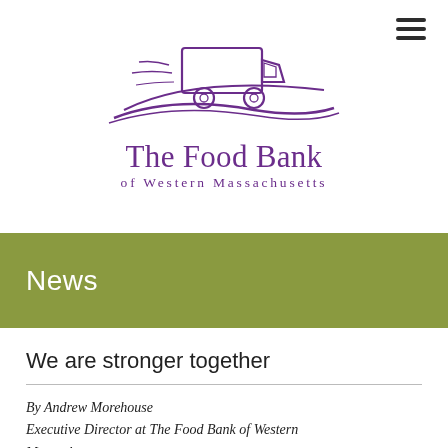[Figure (logo): The Food Bank of Western Massachusetts logo — illustrated truck sketch in purple with swooping road line, and text 'The Food Bank of Western Massachusetts' in purple serif font]
News
We are stronger together
By Andrew Morehouse
Executive Director at The Food Bank of Western Massachusetts